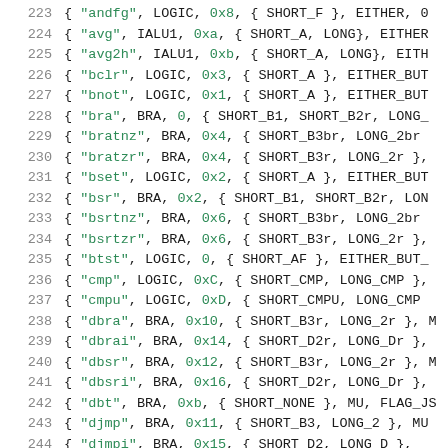[Figure (screenshot): Source code listing showing assembly instruction table entries, lines 223-244, with line numbers in gray, string literals in green, hex values in green, and identifiers in black monospace font.]